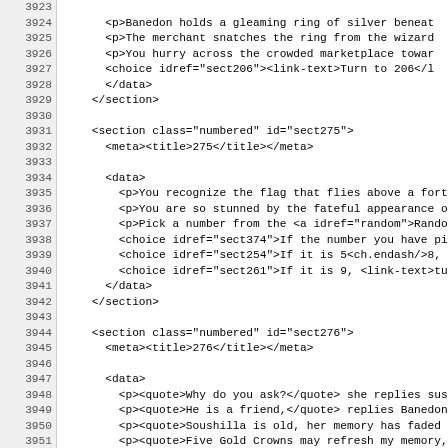Code listing showing XML source lines 3924-3955, including sections sect275 and sect276 with meta, data, choice, and paragraph elements.